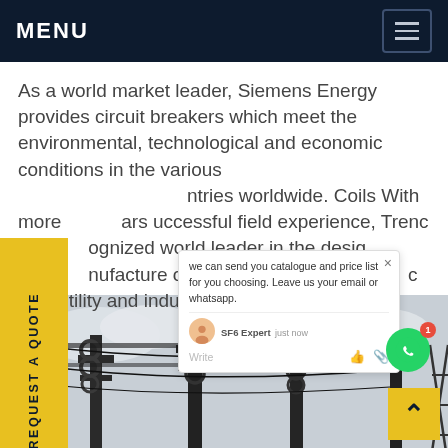MENU
As a world market leader, Siemens Energy provides circuit breakers which meet the environmental, technological and economic conditions in the various countries worldwide. Coils With more years successful field experience, Trench recognized world leader in the design manufacture of air-core, dry-type, all utility and industrial Get price
[Figure (photo): Power substation with tall electricity pylons, insulators, and transmission lines against a cloudy sky]
REQUEST A QUOTE
we can send you catalogue and price list for you choosing. Leave us your email or whatsapp.
SF6 Expert  just now
Write
^